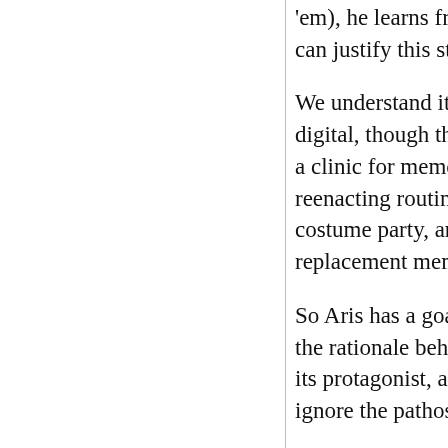'em), he learns from a grocer that apples sharpe can justify this strange piece of behavior?
We understand it completely, because what has digital, though there are some anachronisms. In a clinic for memory recovery. His doctors have reenacting routines of childhood, adolescence, a costume party, and goes to a dance club, he reco replacement memories.
So Aris has a goal, albeit a diffuse one. We have the rationale behind his dressing up as an astro its protagonist, although a couple of scenes with ignore the pathos of his situation while also, pro
Crucially, his retraining regimen intersects with Their relationship gives the film a romantic sub Again," in which Siri seems to suddenly recove "Sealed with a Kiss." (Hints about the under-pl appeals of art-cinema storytelling.) All of this ta becomes as dramatic a twist as one would find i